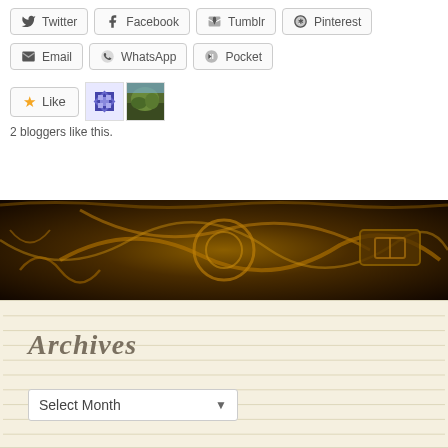[Figure (screenshot): Social share buttons row 1: Twitter, Facebook, Tumblr, Pinterest]
[Figure (screenshot): Social share buttons row 2: Email, WhatsApp, Pocket]
[Figure (screenshot): Like button with star icon and two blogger avatar thumbnails]
2 bloggers like this.
[Figure (photo): Dark ornate golden decorative background image]
Archives
[Figure (screenshot): Select Month dropdown widget]